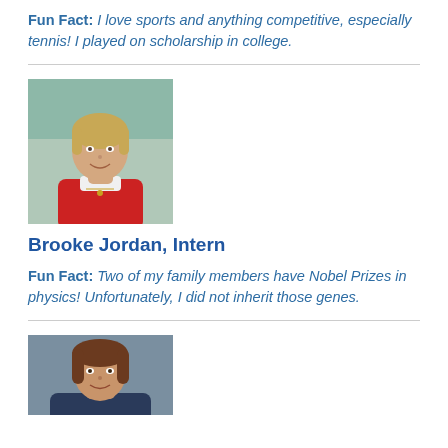Fun Fact: I love sports and anything competitive, especially tennis! I played on scholarship in college.
[Figure (photo): Portrait photo of a young woman with short blonde hair wearing a red sweater, smiling outdoors]
Brooke Jordan, Intern
Fun Fact: Two of my family members have Nobel Prizes in physics! Unfortunately, I did not inherit those genes.
[Figure (photo): Portrait photo of a woman with brown hair, smiling, against a gray background]